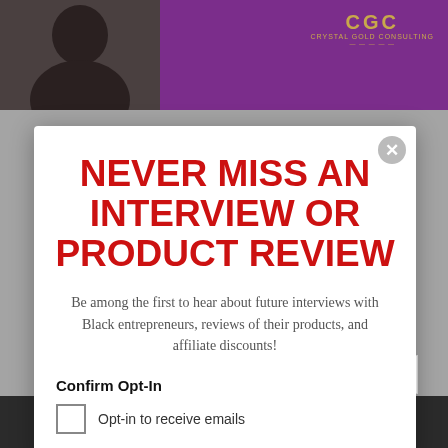[Figure (screenshot): Background showing a person photo on the left (dark tones) and a purple rectangle with CGC logo on the right]
NEVER MISS AN INTERVIEW OR PRODUCT REVIEW
Be among the first to hear about future interviews with Black entrepreneurs, reviews of their products, and affiliate discounts!
Confirm Opt-In
Opt-in to receive emails
Tutoring
Join Our Community